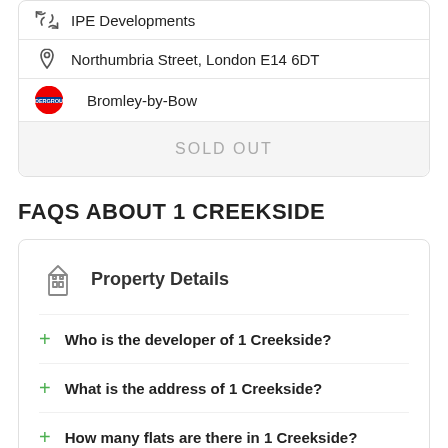IPE Developments
Northumbria Street, London E14 6DT
Bromley-by-Bow
SOLD OUT
FAQS ABOUT 1 CREEKSIDE
Property Details
Who is the developer of 1 Creekside?
What is the address of 1 Creekside?
How many flats are there in 1 Creekside?